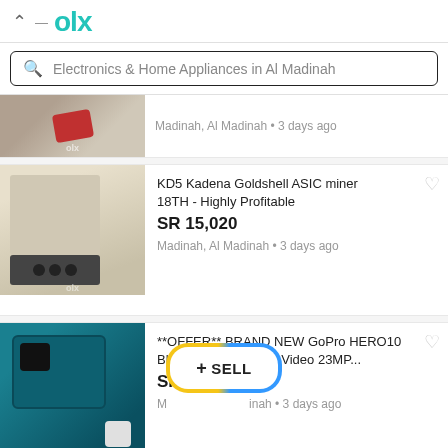OLX
Electronics & Home Appliances in Al Madinah
Madinah, Al Madinah • 3 days ago
KD5 Kadena Goldshell ASIC miner 18TH - Highly Profitable
SR 15,020
Madinah, Al Madinah • 3 days ago
**OFFER** BRAND NEW GoPro HERO10 Black Action Camera Video 23MP...
SR 1,126
Madinah, Al Madinah • 3 days ago
MatchX M2 Pro Miner - MXC and